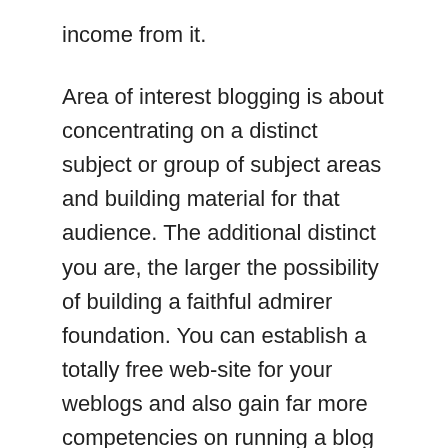income from it.
Area of interest blogging is about concentrating on a distinct subject or group of subject areas and building material for that audience. The additional distinct you are, the larger the possibility of building a faithful admirer foundation. You can establish a totally free web-site for your weblogs and also gain far more competencies on running a blog from this site
With the increase of social media, individuals are turning to area of interest blogging as a way to make income on-line. But how profitable is blogging in general? Although the respond to to that concern varies centered on your blog's distinct area of